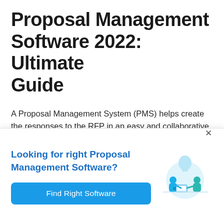Proposal Management Software 2022: Ultimate Guide
A Proposal Management System (PMS) helps create the responses to the RFP in an easy and collaborative manner where there is a central repository of all information pertaining to the response at a glance. Typically a proposal would include information about the vendor
Looking for right Proposal Management Software?
Find Right Software
[Figure (illustration): Two people sitting and collaborating with a laptop, with a lightbulb in the background, in a blue/teal color scheme]